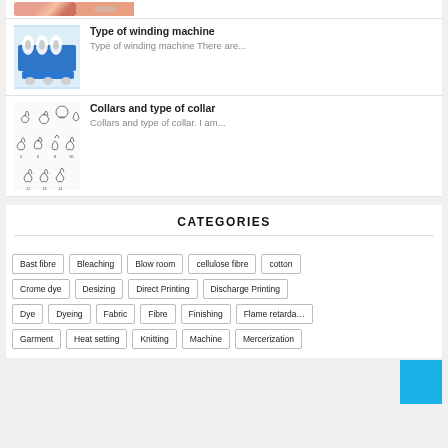[Figure (photo): Partial view of a pink/orange garment or fabric image at the top of the page]
Type of winding machine
Type of winding machine There are...
[Figure (photo): Blue and white winding machine with multiple spools]
Collars and type of collar
Collars and type of collar. I am...
[Figure (illustration): Line drawings of various shirt collar types, numbered 1-14]
CATEGORIES
Bast fibre
Bleaching
Blow room
cellulose fibre
cotton
Crome dye
Desizing
Direct Printing
Discharge Printing
Dye
Dyeing
Fabric
Fibre
Finishing
Flame retarda…
Garment
Heat setting
Knitting
Machine
Mercerization